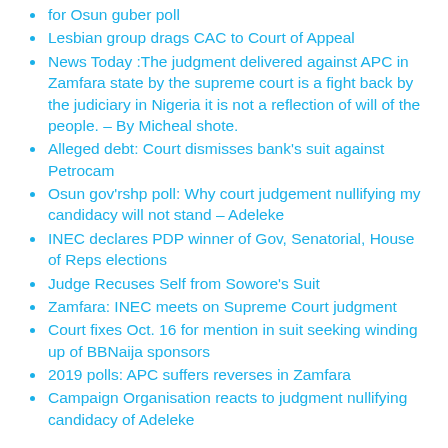for Osun guber poll
Lesbian group drags CAC to Court of Appeal
News Today :The judgment delivered against APC in Zamfara state by the supreme court is a fight back by the judiciary in Nigeria it is not a reflection of will of the people. – By Micheal shote.
Alleged debt: Court dismisses bank's suit against Petrocam
Osun gov'rshp poll: Why court judgement nullifying my candidacy will not stand – Adeleke
INEC declares PDP winner of Gov, Senatorial, House of Reps elections
Judge Recuses Self from Sowore's Suit
Zamfara: INEC meets on Supreme Court judgment
Court fixes Oct. 16 for mention in suit seeking winding up of BBNaija sponsors
2019 polls: APC suffers reverses in Zamfara
Campaign Organisation reacts to judgment nullifying candidacy of Adeleke